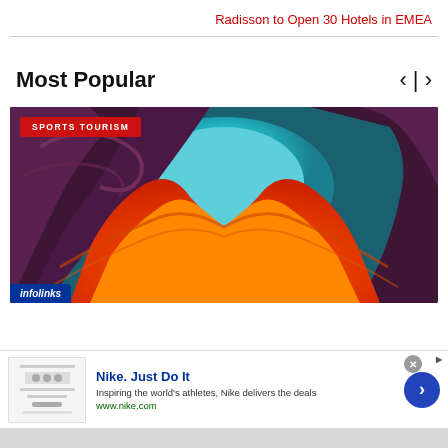Radisson to Open 30 Hotels in EMEA
Most Popular
[Figure (photo): Canyon landscape photo with swirling orange and purple rock formations against a cyan sky, with a 'SPORTS TOURISM' badge overlay and infolinks badge in corner]
Nike. Just Do It
Inspiring the world's athletes, Nike delivers the deals
www.nike.com